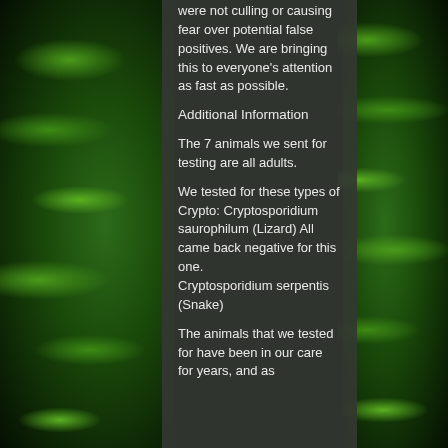were not culling or causing fear over potential false positives. We are bringing this to everyone's attention as fast as possible.
Additional Information
The 7 animals we sent for testing are all adults.
We tested for these types of Crypto: Cryptosporidium saurophilum (Lizard) All came back negative for this one.
Cryptosporidium serpentis (Snake)
The animals that we tested for have been in our care for years, and as